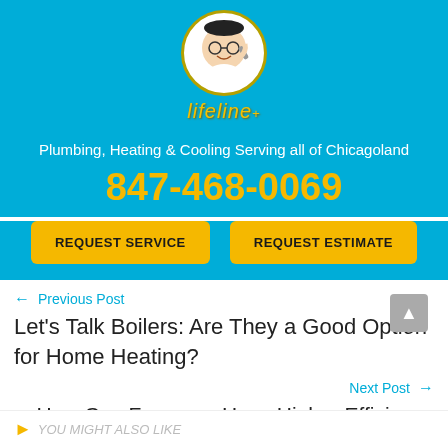[Figure (logo): Lifeline Plumbing logo: circular badge with cartoon plumber character, cursive 'lifeline' text below]
Plumbing, Heating & Cooling Serving all of Chicagoland
847-468-0069
REQUEST SERVICE
REQUEST ESTIMATE
← Previous Post
Let's Talk Boilers: Are They a Good Option for Home Heating?
Next Post →
How Gas Furnaces Have Higher Efficiency Than Ever Before